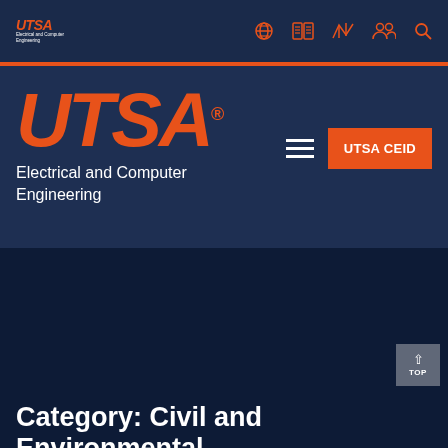UTSA Electrical and Computer Engineering - navigation bar with globe, catalog, map, people, and search icons
[Figure (logo): UTSA logo with orange text and subtitle, plus department name 'Electrical and Computer Engineering' in white on dark navy background, with hamburger menu and orange UTSA CEID button]
Category: Civil and Environmental